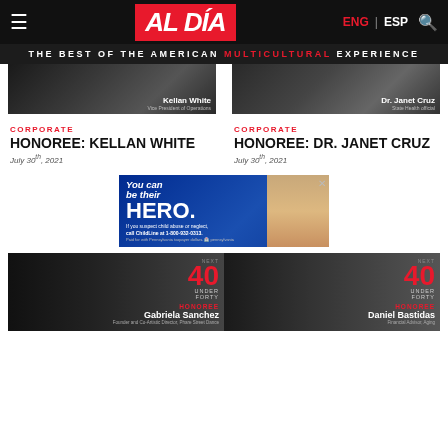AL DÍA — THE BEST OF THE AMERICAN MULTICULTURAL EXPERIENCE — ENG | ESP
[Figure (screenshot): Honoree Kellan White event card image]
CORPORATE
HONOREE: KELLAN WHITE
July 30th, 2021
[Figure (screenshot): Honoree Dr. Janet Cruz event card image]
CORPORATE
HONOREE: DR. JANET CRUZ
July 30th, 2021
[Figure (infographic): Advertisement: You can be their HERO. If you suspect child abuse or neglect, call ChildLine at 1-800-932-0313. Paid for with Pennsylvania taxpayer dollars.]
[Figure (photo): Next 40 Under 40 Honoree Gabriela Sanchez card image]
[Figure (photo): Next 40 Under 40 Honoree Daniel Bastidas card image]